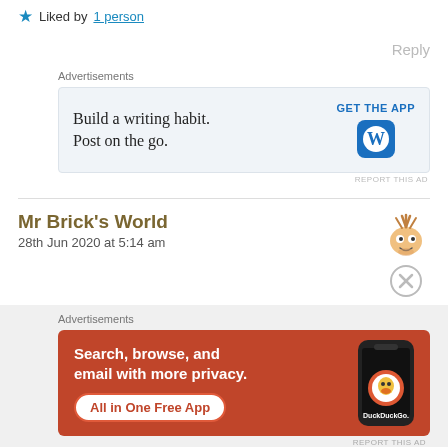Thank you so much 😊😊
★ Liked by 1 person
Reply
Advertisements
[Figure (screenshot): WordPress app advertisement: 'Build a writing habit. Post on the go.' with GET THE APP button and WordPress logo]
REPORT THIS AD
Mr Brick's World
28th Jun 2020 at 5:14 am
[Figure (illustration): Cartoon avatar of spiky-haired character]
[Figure (illustration): Close button (X in circle)]
Advertisements
[Figure (screenshot): DuckDuckGo advertisement: 'Search, browse, and email with more privacy. All in One Free App' on orange background with phone mockup showing DuckDuckGo logo]